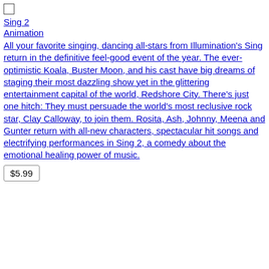Sing 2
Animation
All your favorite singing, dancing all-stars from Illumination's Sing return in the definitive feel-good event of the year. The ever-optimistic Koala, Buster Moon, and his cast have big dreams of staging their most dazzling show yet in the glittering entertainment capital of the world, Redshore City. There's just one hitch: They must persuade the world's most reclusive rock star, Clay Calloway, to join them. Rosita, Ash, Johnny, Meena and Gunter return with all-new characters, spectacular hit songs and electrifying performances in Sing 2, a comedy about the emotional healing power of music.
$5.99